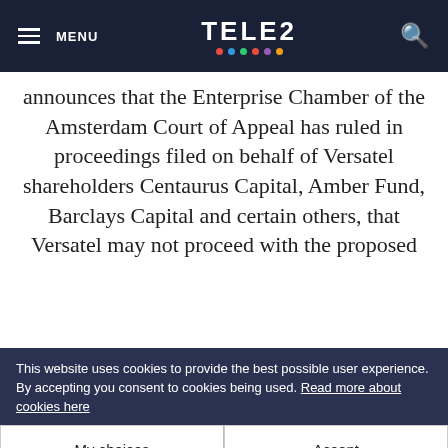MENU  TELE2  [search]
announces that the Enterprise Chamber of the Amsterdam Court of Appeal has ruled in proceedings filed on behalf of Versatel shareholders Centaurus Capital, Amber Fund, Barclays Capital and certain others, that Versatel may not proceed with the proposed
amendment to its corporate governance policies and compulsorily acquire the remaining shareholders. The hearing is set for tomorrow, 15 December 2005. In addition, the Enterprise Chamber has decided to appoint three independent international experts to Versatel's supervisory
This website uses cookies to provide the best possible user experience. By accepting you consent to cookies being used. Read more about cookies here
My choices  |  Accept